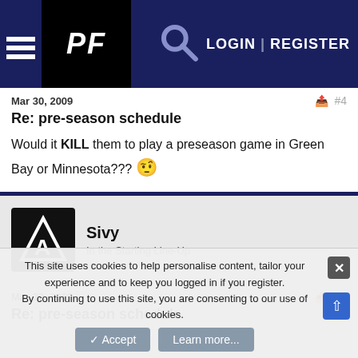PF — LOGIN | REGISTER
Mar 30, 2009  #4
Re: pre-season schedule
Would it KILL them to play a preseason game in Green Bay or Minnesota??? 😠
Sivy
In the Starting Line-Up
Mar 30, 2009  #5
Re: pre-season schedule
This site uses cookies to help personalise content, tailor your experience and to keep you logged in if you register.
By continuing to use this site, you are consenting to our use of cookies.